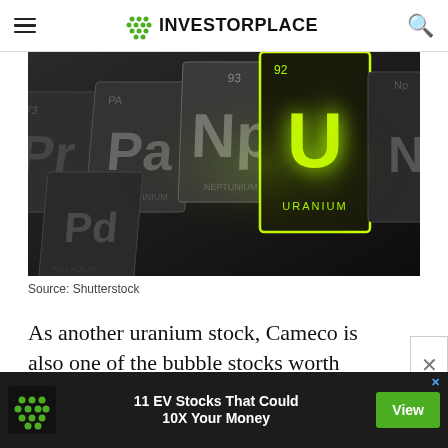INVESTORPLACE
[Figure (photo): Close-up of a periodic table with the Uranium element (U, atomic number 92) glowing in bright green/yellow light against a dark, dramatic background. Other elements visible include Np, Pa, and others.]
Source: Shutterstock
As another uranium stock, Cameco is also one of the bubble stocks worth taking a chance on based on the current shift underlying the energy markets.
[Figure (infographic): Advertisement banner: '11 EV Stocks That Could 10X Your Money' with a View button and InvestorPlace logo.]